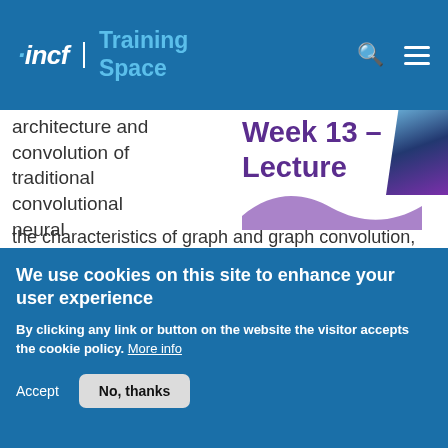incf | Training Space
architecture and convolution of traditional convolutional neural networks, the characteristics of graph and graph convolution, and spectral graph convolutional neural networks and how to perform spectral convolution, as well as the complete spectrum of Graph Convolutional Networks (GCNs), starting with the implementation of Spectral
Week 13 – Lecture
We use cookies on this site to enhance your user experience
By clicking any link or button on the website the visitor accepts the cookie policy. More info
Accept
No, thanks